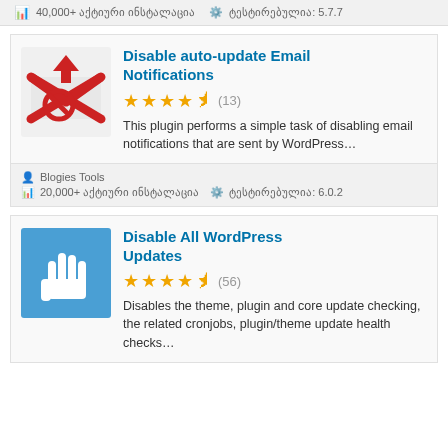40,000+ აქტიური ინსტალაცია  ტესტირებულია: 5.7.7
Disable auto-update Email Notifications
★★★★½ (13)
This plugin performs a simple task of disabling email notifications that are sent by WordPress…
Blogies Tools
20,000+ აქტიური ინსტალაცია  ტესტირებულია: 6.0.2
Disable All WordPress Updates
★★★★½ (56)
Disables the theme, plugin and core update checking, the related cronjobs, plugin/theme update health checks…